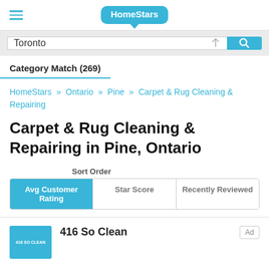HomeStars
Toronto
Category Match (269)
HomeStars » Ontario » Pine » Carpet & Rug Cleaning & Repairing
Carpet & Rug Cleaning & Repairing in Pine, Ontario
Sort Order
Avg Customer Rating | Star Score | Recently Reviewed
416 So Clean
Ad